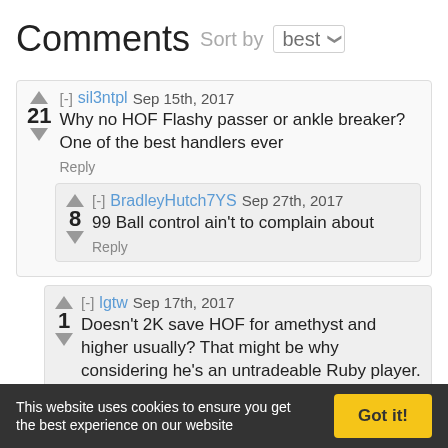Comments Sort by best
[-] sil3ntpl Sep 15th, 2017
21 Why no HOF Flashy passer or ankle breaker? One of the best handlers ever
Reply
[-] BradleyHutch7YS Sep 27th, 2017
8 99 Ball control ain't to complain about
Reply
[-] lgtw Sep 17th, 2017
1 Doesn't 2K save HOF for amethyst and higher usually? That might be why considering he's an untradeable Ruby player. Gotta sell packs somehow.
Reply
[-] yom124 Oct 10th, 2017
1 *Cough Cough* Ruby James Jones *Cough Cough*
This website uses cookies to ensure you get the best experience on our website  Got it!